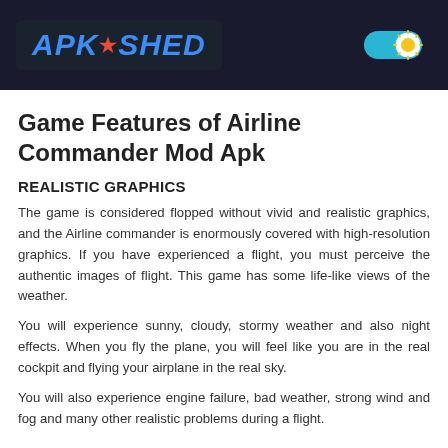APK SHED
Game Features of Airline Commander Mod Apk
REALISTIC GRAPHICS
The game is considered flopped without vivid and realistic graphics, and the Airline commander is enormously covered with high-resolution graphics. If you have experienced a flight, you must perceive the authentic images of flight. This game has some life-like views of the weather.
You will experience sunny, cloudy, stormy weather and also night effects. When you fly the plane, you will feel like you are in the real cockpit and flying your airplane in the real sky.
You will also experience engine failure, bad weather, strong wind and fog and many other realistic problems during a flight.